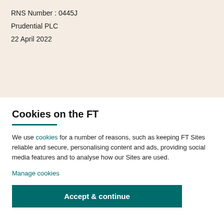RNS Number : 0445J
Prudential PLC
22 April 2022
22 April 2022
Cookies on the FT
We use cookies for a number of reasons, such as keeping FT Sites reliable and secure, personalising content and ads, providing social media features and to analyse how our Sites are used.
Manage cookies
Accept & continue